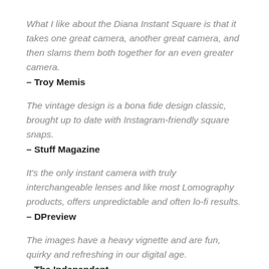What I like about the Diana Instant Square is that it takes one great camera, another great camera, and then slams them both together for an even greater camera.
– Troy Memis
The vintage design is a bona fide design classic, brought up to date with Instagram-friendly square snaps.
– Stuff Magazine
It's the only instant camera with truly interchangeable lenses and like most Lomography products, offers unpredictable and often lo-fi results.
– DPreview
The images have a heavy vignette and are fun, quirky and refreshing in our digital age.
– The Independent